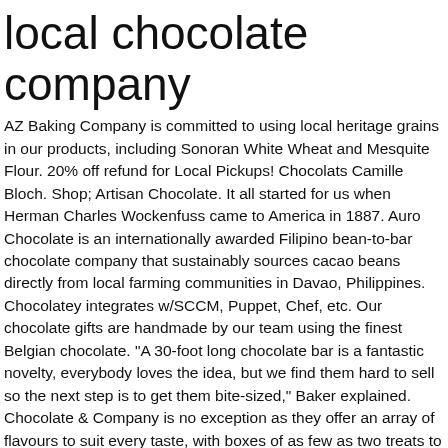local chocolate company
AZ Baking Company is committed to using local heritage grains in our products, including Sonoran White Wheat and Mesquite Flour. 20% off refund for Local Pickups! Chocolats Camille Bloch. Shop; Artisan Chocolate. It all started for us when Herman Charles Wockenfuss came to America in 1887. Auro Chocolate is an internationally awarded Filipino bean-to-bar chocolate company that sustainably sources cacao beans directly from local farming communities in Davao, Philippines. Chocolatey integrates w/SCCM, Puppet, Chef, etc. Our chocolate gifts are handmade by our team using the finest Belgian chocolate. "A 30-foot long chocolate bar is a fantastic novelty, everybody loves the idea, but we find them hard to sell so the next step is to get them bite-sized," Baker explained. Chocolate & Company is no exception as they offer an array of flavours to suit every taste, with boxes of as few as two treats to as many as 27. âThereâs a very strong Support Local base now because of COVID, but I think Support Local has been going on for quite some time, just extra-focused right now,â says Dixon. Blommer Chocolate Company, 1515 Pacific St, Union City, CA 94587 Get Address, Phone Number, Maps, Ratings, Photos, Websites and more for Blommer Chocolate Company. The Pure way of making chocolate is